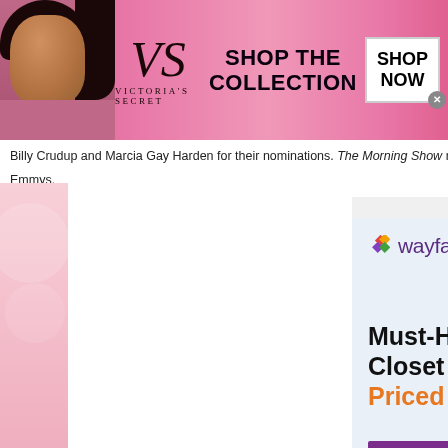[Figure (advertisement): Victoria's Secret banner ad with model, logo, 'SHOP THE COLLECTION' text, and 'SHOP NOW' button on pink background]
Billy Crudup and Marcia Gay Harden for their nominations. The Morning Show recei... Emmys.
[Figure (advertisement): Wayfair ad for Must-Have Closet Systems Priced Just Right with Shop now button and closet photo]
[Figure (advertisement): Wayfair bottom banner ad for Top Appliances Low Prices with Shop now button]